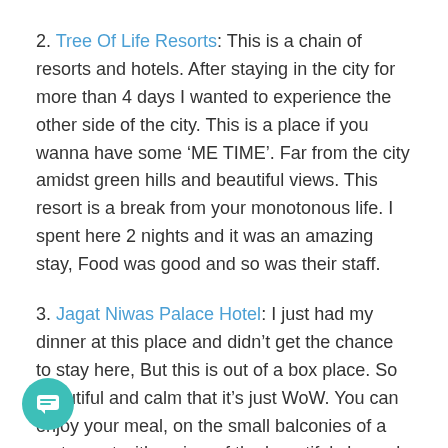2. Tree Of Life Resorts: This is a chain of resorts and hotels. After staying in the city for more than 4 days I wanted to experience the other side of the city. This is a place if you wanna have some ‘ME TIME’. Far from the city amidst green hills and beautiful views. This resort is a break from your monotonous life. I spent here 2 nights and it was an amazing stay, Food was good and so was their staff.
3. Jagat Niwas Palace Hotel: I just had my dinner at this place and didn’t get the chance to stay here, But this is out of a box place. So beautiful and calm that it’s just WoW. You can enjoy your meal, on the small balconies of a restaurant with a view of the beautiful sky and stars. The food was ok. But the place is awesome. Nicely decorated and very lively. checkout the pictures below.